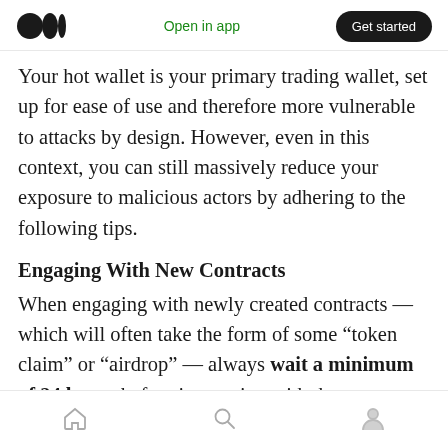Medium logo | Open in app | Get started
Your hot wallet is your primary trading wallet, set up for ease of use and therefore more vulnerable to attacks by design. However, even in this context, you can still massively reduce your exposure to malicious actors by adhering to the following tips.
Engaging With New Contracts
When engaging with newly created contracts — which will often take the form of some “token claim” or “airdrop” — always wait a minimum of 24 hours before interacting with the contract.
Home | Search | Profile